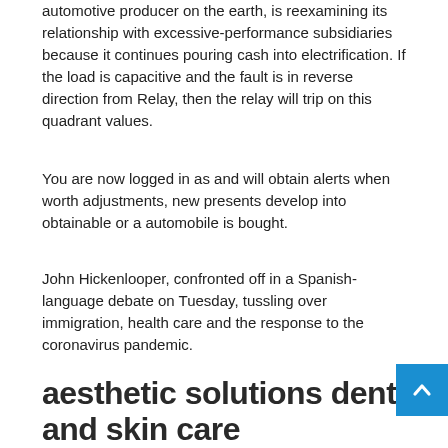automotive producer on the earth, is reexamining its relationship with excessive-performance subsidiaries because it continues pouring cash into electrification. If the load is capacitive and the fault is in reverse direction from Relay, then the relay will trip on this quadrant values.
You are now logged in as and will obtain alerts when worth adjustments, new presents develop into obtainable or a automobile is bought.
John Hickenlooper, confronted off in a Spanish-language debate on Tuesday, tussling over immigration, health care and the response to the coronavirus pandemic.
aesthetic solutions dental and skin care